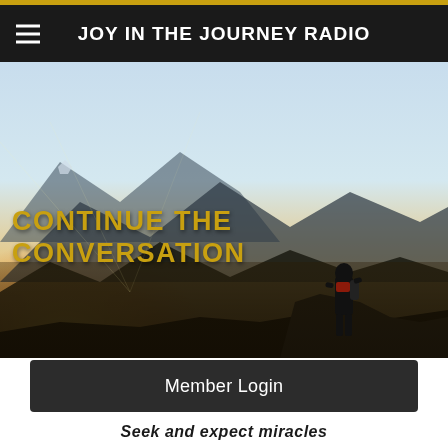JOY IN THE JOURNEY RADIO
[Figure (photo): A dramatic mountain landscape at sunset/sunrise with a silhouetted person standing on a rocky peak. Warm golden light in the background with mountain ranges visible. Overlaid bold gold text reads CONTINUE THE CONVERSATION.]
Member Login
Seek and expect miracles